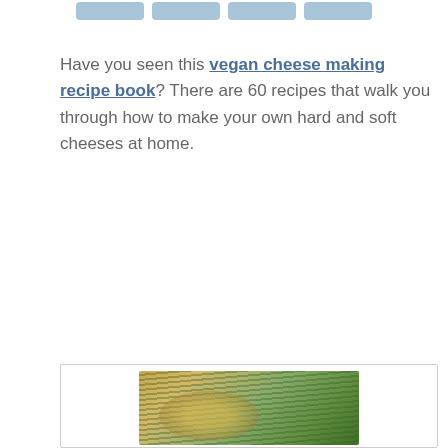[Figure (other): Four light blue rounded rectangle buttons at top of page]
Have you seen this vegan cheese making recipe book? There are 60 recipes that walk you through how to make your own hard and soft cheeses at home.
[Figure (photo): Photo of a food dish (appears to be a casserole or baked dish) with green chives or scallions visible]